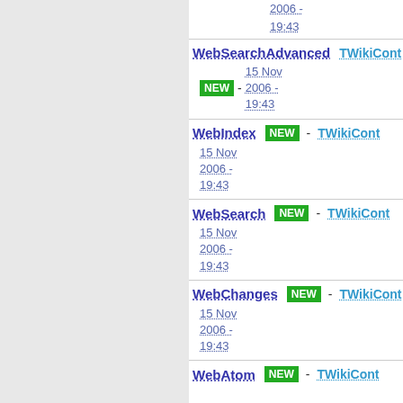2006 - 19:43
WebSearchAdvanced - TWikiCont - NEW - 15 Nov 2006 - 19:43
WebIndex - TWikiCont - NEW - 15 Nov 2006 - 19:43
WebSearch - TWikiCont - NEW - 15 Nov 2006 - 19:43
WebChanges - TWikiCont - NEW - 15 Nov 2006 - 19:43
WebAtom - TWikiCont - NEW